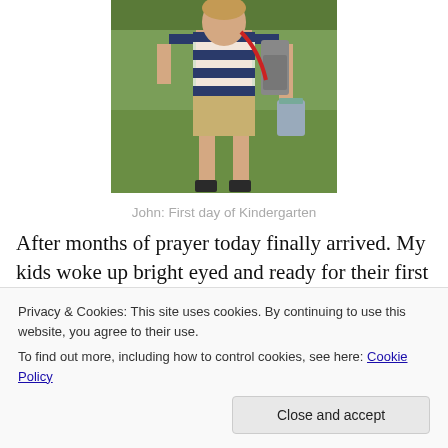[Figure (photo): A young boy wearing a navy blue striped shirt and khaki shorts, standing on grass, carrying a backpack, presumably on his first day of kindergarten.]
John: First day of Kindergarten
After months of prayer today finally arrived. My kids woke up bright eyed and ready for their first day of school.  I knew they were covered in prayer, so as a mother, I held back on my worries and instead focused on preparing
Privacy & Cookies: This site uses cookies. By continuing to use this website, you agree to their use.
To find out more, including how to control cookies, see here: Cookie Policy